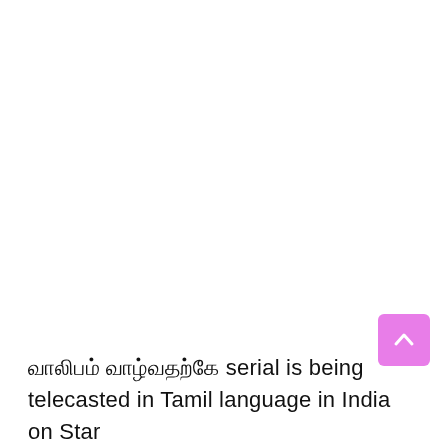வாலிபம் வாழ்வதற்கே serial is being telecasted in Tamil language in India on Star
[Figure (other): Pink/magenta scroll-to-top button with upward chevron arrow, positioned bottom-right]